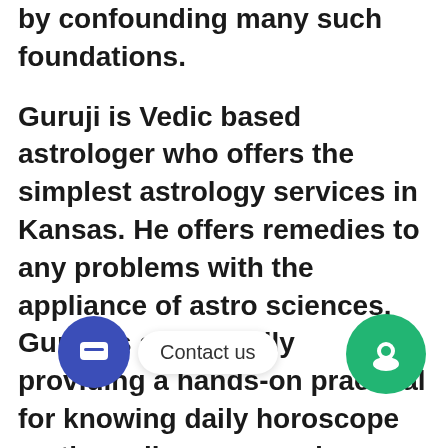by confounding many such foundations. Guruji is Vedic based astrologer who offers the simplest astrology services in Kansas. He offers remedies to any problems with the appliance of astro sciences. Guruji is additionally providing a hands-on practical for knowing daily horoscope on the online page and concentrates on moving beyond a person's everyday horoscope and making zodiac available to everyone curious about it. Horoscope and matchmaking are two vital parts of astrology that the people keep curious about knowing it. Famous Astrologer in Kansas also goes through the horoscope